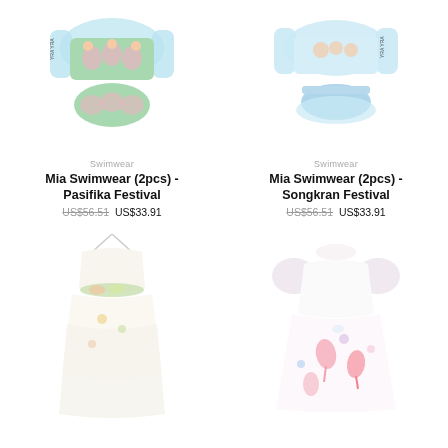[Figure (photo): Children's swimwear two-piece set with floral print and long sleeves, Pasifika Festival design]
Swimwear
Mia Swimwear (2pcs) - Pasifika Festival
US$56.51 US$33.91
[Figure (photo): Children's swimwear two-piece set in light blue with illustrated print, Songkran Festival design]
Swimwear
Mia Swimwear (2pcs) - Songkran Festival
US$56.51 US$33.91
[Figure (photo): Children's white/cream dress with floral print and tulle skirt]
[Figure (photo): Children's white dress with pink flamingo print and puff sleeves]